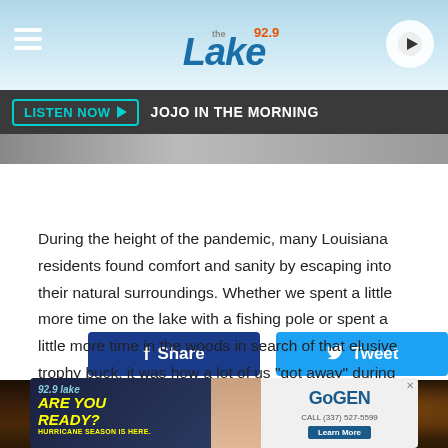92.9 The Lake — LISTEN NOW ▶ JOJO IN THE MORNING
[Figure (screenshot): Radio station header with hamburger menu, 92.9 Lake logo, and play button on light blue background]
[Figure (screenshot): Social share buttons: Facebook Share (dark blue) and Tweet (Twitter blue)]
During the height of the pandemic, many Louisiana residents found comfort and sanity by escaping into their natural surroundings. Whether we spent a little more time on the lake with a fishing pole or spent a little more time in the woods in search of that elusive trophy buck, it was how a lot of us "got away" during those troubling days.
[Figure (photo): Dark outdoor nighttime photo, bottom of page, showing blurry antlers/deer in dark brown tones]
[Figure (screenshot): GoGEN advertisement banner: 92.9 Lake logo, Are You Ready? Hurricane Season is Here, GoGEN Call (337) 527-5599 Learn More]